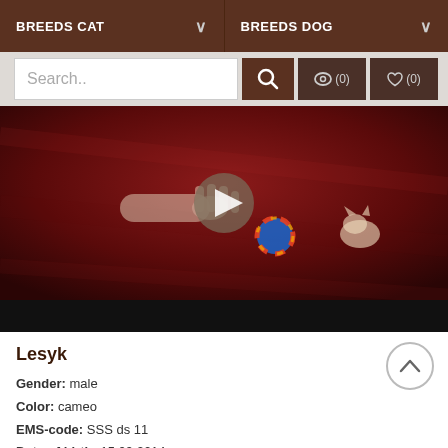BREEDS CAT   BREEDS DOG
Search..
[Figure (screenshot): Video player showing a kitten playing with a colorful ball on a red velvet background. A human hand reaches toward the kitten. A play button overlay is visible in the center. The bottom of the video has a black bar.]
Lesyk
Gender: male
Color: cameo
EMS-code: SSS ds 11
Date of birth: 15.09.2014
Status: sold